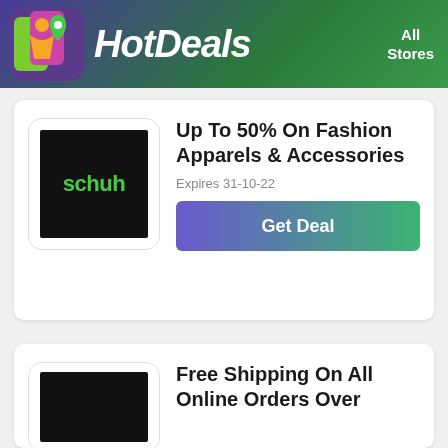HotDeals — All Stores
[Figure (logo): Schuh store logo — black background with green 'schuh' text]
Up To 50% On Fashion Apparels & Accessories
Expires 31-10-22
Get Deal
[Figure (logo): Schuh store logo partial — second card]
Free Shipping On All Online Orders Over